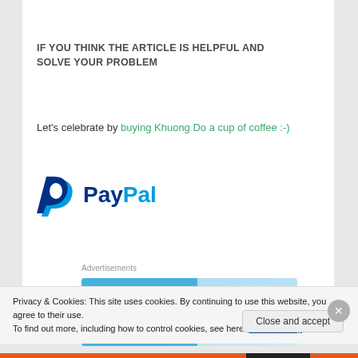IF YOU THINK THE ARTICLE IS HELPFUL AND SOLVE YOUR PROBLEM
Let's celebrate by buying Khuong Do a cup of coffee :-)
[Figure (logo): PayPal logo in blue with 'P' symbol and 'PayPal' text]
Advertisements
[Figure (infographic): Advertisement banner showing 'WORKS ON THE APP TOO!' text and '$39.99 a year or $4.99' pricing on a light blue background]
Privacy & Cookies: This site uses cookies. By continuing to use this website, you agree to their use.
To find out more, including how to control cookies, see here: Cookie Policy
Close and accept